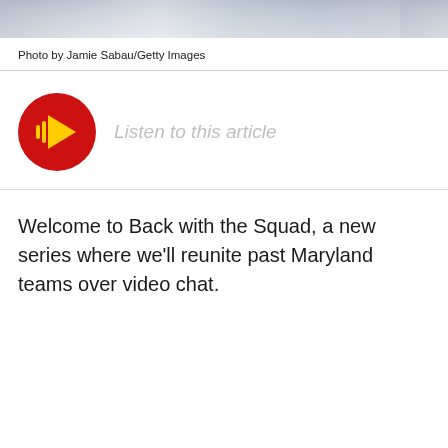[Figure (photo): Partial photo strip at top of page showing people in sports/athletic context]
Photo by Jamie Sabau/Getty Images
[Figure (other): Audio player button - red circle with play icon and sound wave bars, with 'Listen to this article' text]
Welcome to Back with the Squad, a new series where we'll reunite past Maryland teams over video chat.